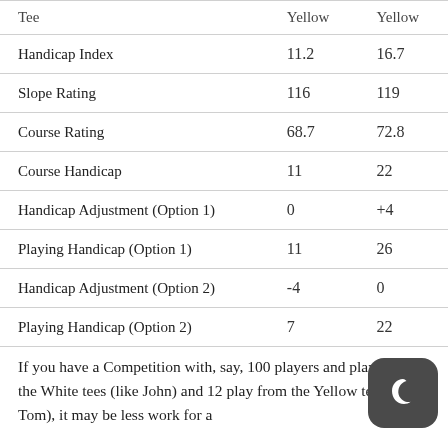| Tee | Yellow | Yellow |
| --- | --- | --- |
| Handicap Index | 11.2 | 16.7 |
| Slope Rating | 116 | 119 |
| Course Rating | 68.7 | 72.8 |
| Course Handicap | 11 | 22 |
| Handicap Adjustment (Option 1) | 0 | +4 |
| Playing Handicap (Option 1) | 11 | 26 |
| Handicap Adjustment (Option 2) | -4 | 0 |
| Playing Handicap (Option 2) | 7 | 22 |
If you have a Competition with, say, 100 players and play from the White tees (like John) and 12 play from the Yellow tees (like Tom), it may be less work for a